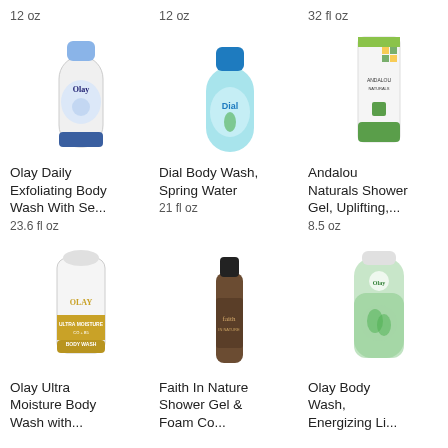12 oz
12 oz
32 fl oz
[Figure (photo): Olay Daily Exfoliating Body Wash bottle, white with blue cap]
[Figure (photo): Dial Body Wash Spring Water bottle, light blue]
[Figure (photo): Andalou Naturals Shower Gel tube, white with green bottom]
Olay Daily Exfoliating Body Wash With Se...
23.6 fl oz
Dial Body Wash, Spring Water
21 fl oz
Andalou Naturals Shower Gel, Uplifting,...
8.5 oz
[Figure (photo): Olay Ultra Moisture Body Wash with coconut, white bottle with gold label]
[Figure (photo): Faith In Nature Shower Gel & foam, dark bottle with black cap]
[Figure (photo): Olay Body Wash, Energizing, green bottle]
Olay Ultra Moisture Body Wash with...
Faith In Nature Shower Gel & Foam Co...
Olay Body Wash, Energizing Li...